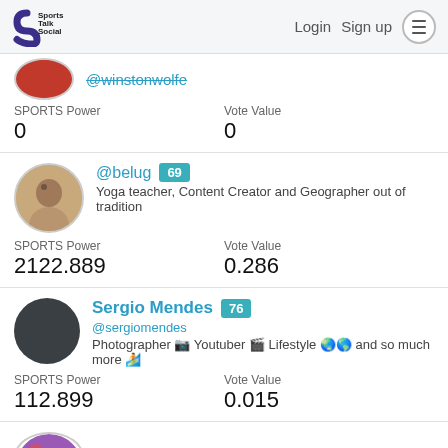Sports Talk Social — Login  Sign up
@winstonwolfe
SPORTS Power: 0
Vote Value: 0
@belug [69]
Yoga teacher, Content Creator and Geographer out of tradition
SPORTS Power: 2122.889
Vote Value: 0.286
Sergio Mendes [76]
@sergiomendes
Photographer 📷 Youtuber 🎬 Lifestyle 🌏🌎 and so much more 🏄
SPORTS Power: 112.899
Vote Value: 0.015
Aishlinn [77]